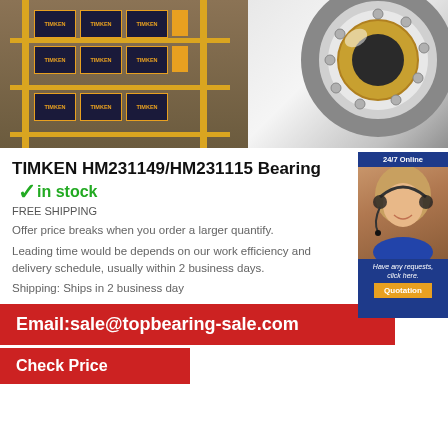[Figure (photo): Warehouse shelves stacked with Timken branded boxes (dark blue/black boxes with orange Timken branding)]
[Figure (photo): Close-up of a Timken tapered roller bearing showing inner cone and outer cup]
TIMKEN HM231149/HM231115 Bearing
✓ in stock
FREE SHIPPING
Offer price breaks when you order a larger quantify.
Leading time would be depends on our work efficiency and delivery schedule, usually within 2 business days.
Shipping: Ships in 2 business day
Email:sale@topbearing-sale.com
Check Price
[Figure (photo): Customer service representative with headset - 24/7 Online support banner with quotation button]